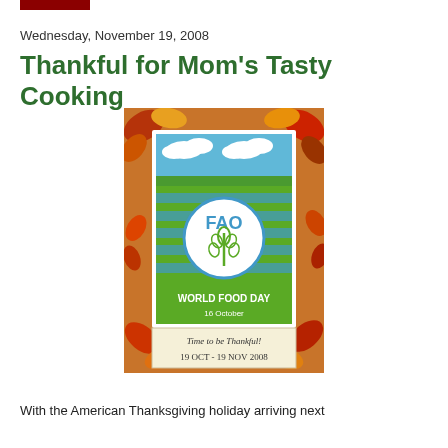Wednesday, November 19, 2008
Thankful for Mom's Tasty Cooking
[Figure (illustration): FAO World Food Day poster surrounded by autumn leaves border. Center shows FAO logo with wheat symbol on blue/green striped background. Text reads WORLD FOOD DAY 16 October. Bottom banner: Time to be Thankful! 19 OCT - 19 NOV 2008]
With the American Thanksgiving holiday arriving next